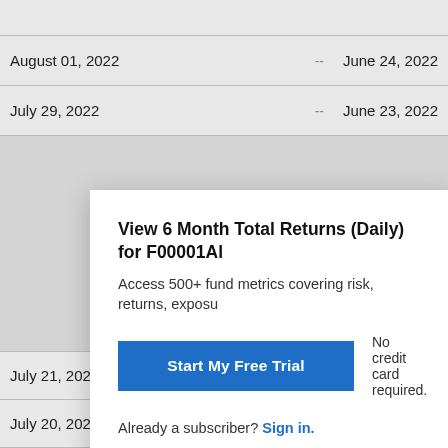| August 01, 2022 | -- | June 24, 2022 |
| July 29, 2022 | -- | June 23, 2022 |
| July 21, 2022 | -- | June 14, 2022 |
| July 20, 2022 | -- | June 13, 2022 |
| July 19, 2022 | -- | June 10, 2022 |
| July 18, 2022 | -- | June 09, 2022 |
View 6 Month Total Returns (Daily) for F00001Al
Access 500+ fund metrics covering risk, returns, exposu
Start My Free Trial
No credit card required.
Already a subscriber? Sign in.